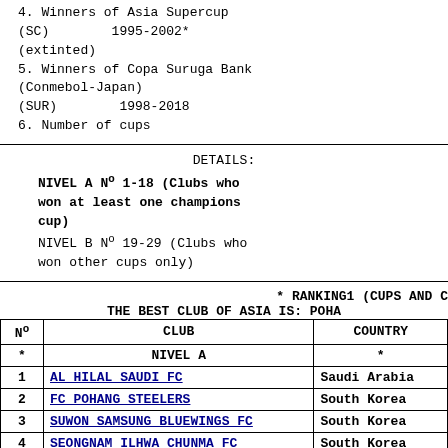4. Winners of Asia Supercup (SC) 1995-2002* (extinted)
5. Winners of Copa Suruga Bank (Conmebol-Japan) (SUR) 1998-2018
6. Number of cups
DETAILS:
NIVEL A Nº 1-18 (Clubs who won at least one champions cup)
NIVEL B Nº 19-29 (Clubs who won other cups only)
* RANKING1 (CUPS AND C... THE BEST CLUB OF ASIA IS: POHA...
| Nº | CLUB | COUNTRY |
| --- | --- | --- |
| * | NIVEL A | * |
| 1 | AL HILAL SAUDI FC | Saudi Arabia |
| 2 | FC POHANG STEELERS | South Korea |
| 3 | SUWON SAMSUNG BLUEWINGS FC | South Korea |
| 4 | SEONGNAM ILHWA CHUNMA FC | South Korea |
| 5 | THAI FARMERS BANK FC | Thailand |
| 6 | ESTEGHAL TEHRAN | Iran |